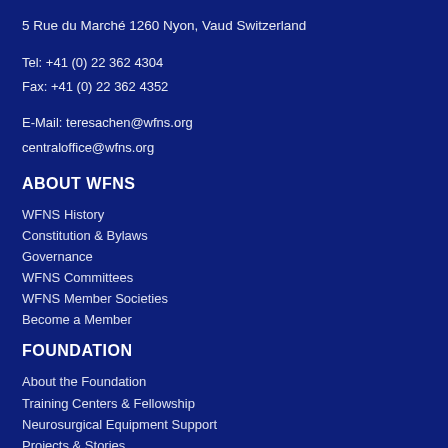5 Rue du Marché 1260 Nyon, Vaud Switzerland
Tel: +41 (0) 22 362 4304
Fax: +41 (0) 22 362 4352
E-Mail: teresachen@wfns.org
centraloffice@wfns.org
ABOUT WFNS
WFNS History
Constitution & Bylaws
Governance
WFNS Committees
WFNS Member Societies
Become a Member
FOUNDATION
About the Foundation
Training Centers & Fellowship
Neurosurgical Equipment Support
Projects & Stories